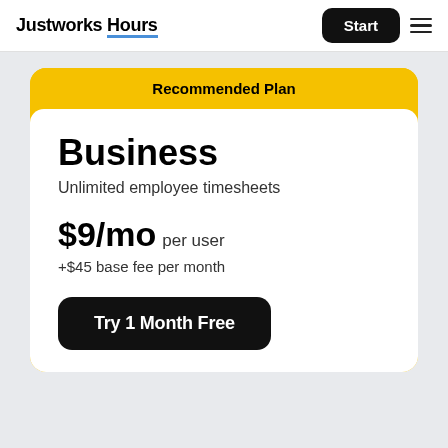Justworks Hours
Start
Recommended Plan
Business
Unlimited employee timesheets
$9/mo per user
+$45 base fee per month
Try 1 Month Free